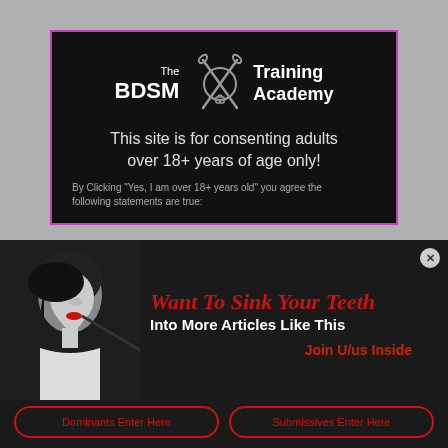[Figure (screenshot): BDSM Training Academy logo with crossed paddles and chain collar icon]
This site is for consenting adults over 18+ years of age only!
By Clicking "Yes, I am over 18+ years old" you agree the following statements are true:
[Figure (photo): Black and white photo of a woman with red lips in profile]
Want To Sink Your Teeth
Into More Articles Like This
Join U/us Inside
Dominants Enter Here
Submissives Enter Here